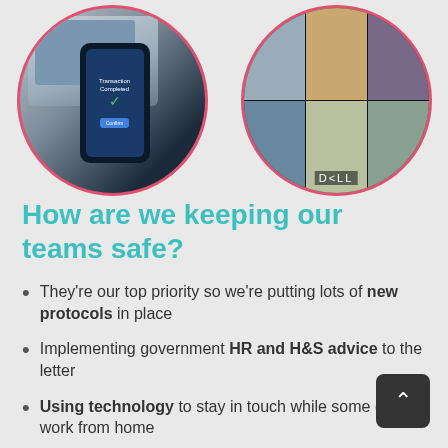[Figure (photo): Two circular photos side by side: left shows a phone with 'Transaction Completed' screen next to a laptop, right shows a video call grid on a Dell monitor]
How are we keeping our teams safe?
They're our top priority so we're putting lots of new protocols in place
Implementing government HR and H&S advice to the letter
Using technology to stay in touch while some of us work from home
Keeping everyone cheerful – hosting